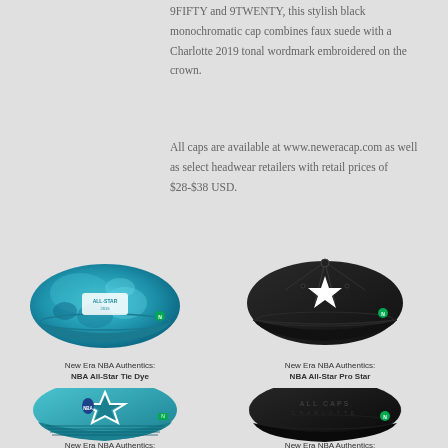9FIFTY and 9TWENTY, this stylish black monochromatic cap combines faux suede with a Charlotte 2019 tonal wordmark embroidered on the crown.
All caps are available at www.neweracap.com as well as select headwear retailers with retail prices of $28-$38 USD.
[Figure (photo): New Era NBA Authentics: NBA All-Star Tie Dye cap – teal/turquoise tie-dye pattern fitted cap]
New Era NBA Authentics:
NBA All-Star Tie Dye
[Figure (photo): New Era NBA Authentics: NBA All-Star Pro Star cap – black fitted cap with white star logo]
New Era NBA Authentics:
NBA All-Star Pro Star
[Figure (photo): New Era NBA Authentics: NBA All-Star Oversized Star cap – teal fitted cap with large star logo]
New Era NBA Authentics:
NBA All-Star Oversized Star
[Figure (photo): New Era NBA Authentics: NBA All-Star Suede cap – black monochromatic suede snapback cap]
New Era NBA Authentics:
NBA All-Star Suede